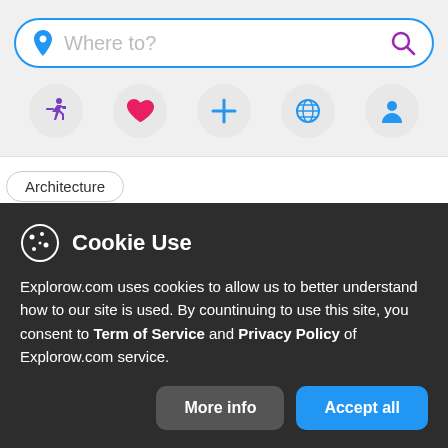[Figure (screenshot): Search bar with location pin icon and search icon, reading 'Where to?']
[Figure (infographic): Row of five circular icon buttons: running person (purple), heart (pink), plus (blue), globe (blue), person/user (blue)]
Architecture
Cookie Use
Explorow.com uses cookies to allow us to better understand how to our site is used. By countinuing to use this site, you consent to Term of Service and Privacy Policy of Explorow.com service.
More info
Accept all